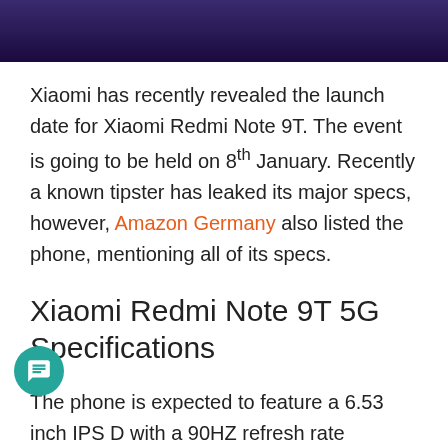[Figure (photo): Dark purple/blue background image, cropped to show only the top portion]
Xiaomi has recently revealed the launch date for Xiaomi Redmi Note 9T. The event is going to be held on 8th January. Recently a known tipster has leaked its major specs, however, Amazon Germany also listed the phone, mentioning all of its specs.
Xiaomi Redmi Note 9T 5G Specifications
The phone is expected to feature a 6.53 inch IPS D with a 90HZ refresh rate support. The screen is protected by Gorilla Glass 5 and has a